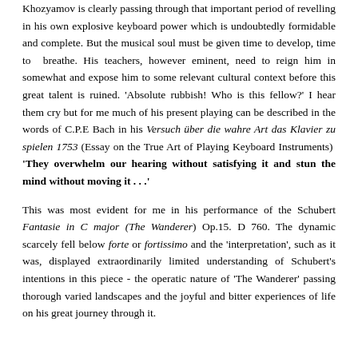Khozyamov is clearly passing through that important period of revelling in his own explosive keyboard power which is undoubtedly formidable and complete. But the musical soul must be given time to develop, time to breathe. His teachers, however eminent, need to reign him in somewhat and expose him to some relevant cultural context before this great talent is ruined. 'Absolute rubbish! Who is this fellow?' I hear them cry but for me much of his present playing can be described in the words of C.P.E Bach in his Versuch über die wahre Art das Klavier zu spielen 1753 (Essay on the True Art of Playing Keyboard Instruments) 'They overwhelm our hearing without satisfying it and stun the mind without moving it . . .'
This was most evident for me in his performance of the Schubert Fantasie in C major (The Wanderer) Op.15. D 760. The dynamic scarcely fell below forte or fortissimo and the 'interpretation', such as it was, displayed extraordinarily limited understanding of Schubert's intentions in this piece - the operatic nature of 'The Wanderer' passing thorough varied landscapes and the joyful and bitter experiences of life on his great journey through it.